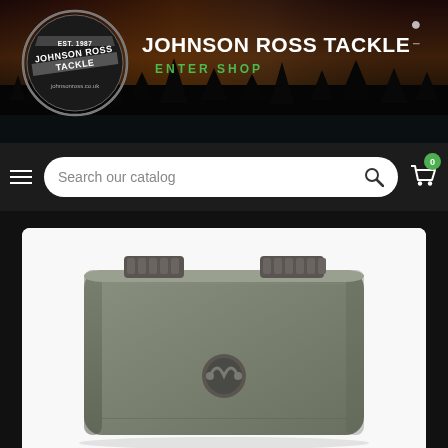[Figure (screenshot): Johnson Ross Tackle website header with logo on dark scenic background with tree silhouettes]
JOHNSON ROSS TACKLE
ENTER SHOP
[Figure (photo): Olive/khaki colored tackle box with two metal spring clips at top and a twist-lock latch in the center, viewed from above on white background]